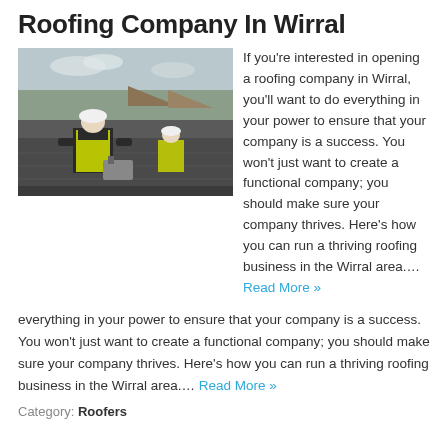Roofing Company In Wirral
[Figure (photo): Two roofers in high-visibility vests and hard hats working on a flat roof, with residential rooftops and trees visible in the background.]
If you're interested in opening a roofing company in Wirral, you'll want to do everything in your power to ensure that your company is a success. You won't just want to create a functional company; you should make sure your company thrives. Here's how you can run a thriving roofing business in the Wirral area.… Read More »
Category: Roofers